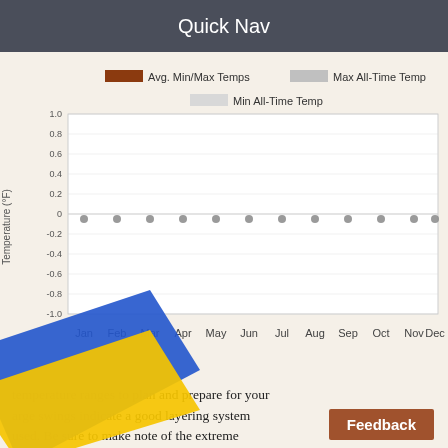Quick Nav
[Figure (line-chart): ]
temperature ranges to plan and prepare for your large swings indicate a good layering system used. Be sure to make note of the extreme as these often pose the greatest risk to h... lan on hunting in higher elevation, as a rule ...ct the tempture to decrease roughly 5° for ev... avation gain.